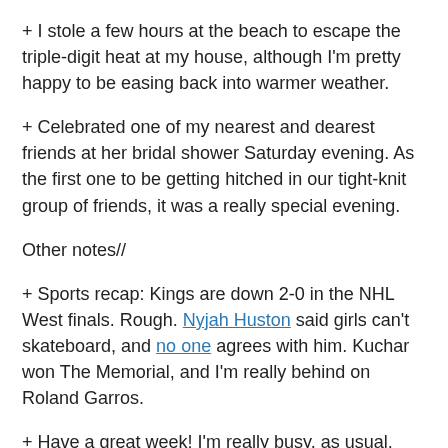+ I stole a few hours at the beach to escape the triple-digit heat at my house, although I'm pretty happy to be easing back into warmer weather.
+ Celebrated one of my nearest and dearest friends at her bridal shower Saturday evening. As the first one to be getting hitched in our tight-knit group of friends, it was a really special evening.
Other notes//
+ Sports recap: Kings are down 2-0 in the NHL West finals. Rough. Nyjah Huston said girls can't skateboard, and no one agrees with him. Kuchar won The Memorial, and I'm really behind on Roland Garros.
+ Have a great week! I'm really busy, as usual.